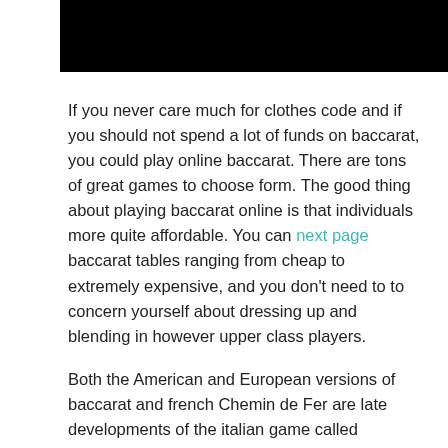[Figure (other): Black rectangular banner/header bar at the top of the page]
If you never care much for clothes code and if you should not spend a lot of funds on baccarat, you could play online baccarat. There are tons of great games to choose form. The good thing about playing baccarat online is that individuals more quite affordable. You can next page baccarat tables ranging from cheap to extremely expensive, and you don't need to to concern yourself about dressing up and blending in however upper class players.
Both the American and European versions of baccarat and french Chemin de Fer are late developments of the italian game called baccara, implies zero in Italian. The origins of baccara resume an old Etruscan fable.